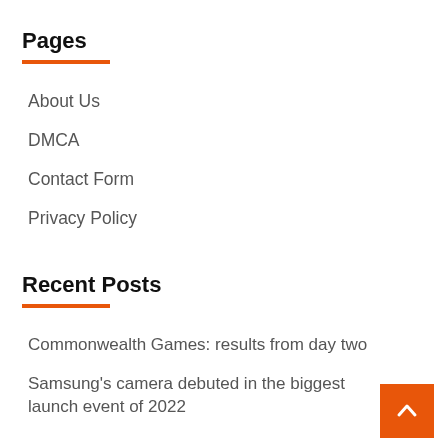Pages
About Us
DMCA
Contact Form
Privacy Policy
Recent Posts
Commonwealth Games: results from day two
Samsung's camera debuted in the biggest launch event of 2022